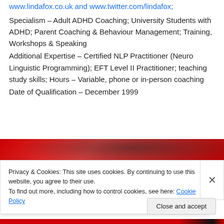www.lindafox.co.uk and www.twitter.com/lindafox;
Specialism – Adult ADHD Coaching; University Students with ADHD; Parent Coaching & Behaviour Management; Training, Workshops & Speaking
Additional Expertise – Certified NLP Practitioner (Neuro Linguistic Programming); EFT Level II Practitioner; teaching study skills; Hours – Variable, phone or in-person coaching
Date of Qualification – December 1999
[Figure (photo): Partial view of a red-colored object, likely a book or device, photographed at an angle.]
Privacy & Cookies: This site uses cookies. By continuing to use this website, you agree to their use. To find out more, including how to control cookies, see here: Cookie Policy
Close and accept